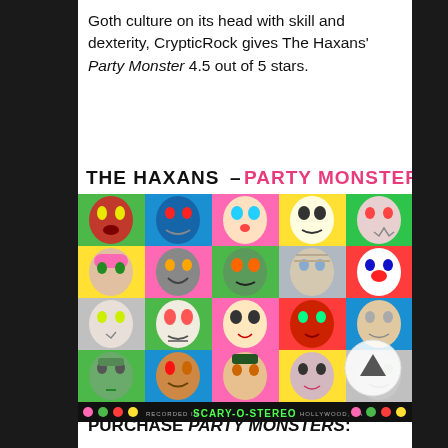Goth culture on its head with skill and dexterity, CrypticRock gives The Haxans' Party Monster 4.5 out of 5 stars.
[Figure (illustration): Album cover for The Haxans - Party Monsters. Features a colorful grid of vintage Halloween masks (monster faces, skulls, clowns, zombies, etc.) on bright neon colored backgrounds (pink, green, yellow, blue). Title text reads 'THE HAXANS - PARTY MONSTERS' at top. Bottom text reads 'RECORDED IN SCARY-O-STEREO HOLLYWOOD, CA' with colored dots on each side.]
PURCHASE PARTY MONSTERS: